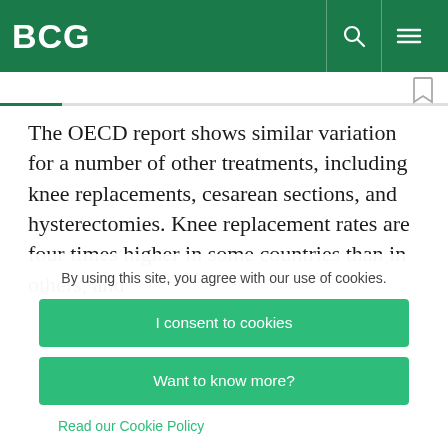BCG
The OECD report shows similar variation for a number of other treatments, including knee replacements, cesarean sections, and hysterectomies. Knee replacement rates are four times higher in some countries than in others, and
By using this site, you agree with our use of cookies.
I consent to cookies
Want to know more?
Read our Cookie Policy